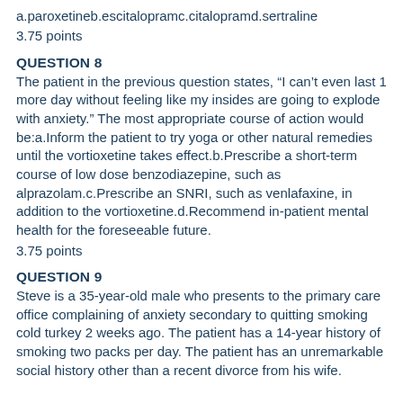a.paroxetineb.escitalopramc.citalopramd.sertraline
3.75 points
QUESTION 8
The patient in the previous question states, “I can’t even last 1 more day without feeling like my insides are going to explode with anxiety.” The most appropriate course of action would be:a.Inform the patient to try yoga or other natural remedies until the vortioxetine takes effect.b.Prescribe a short-term course of low dose benzodiazepine, such as alprazolam.c.Prescribe an SNRI, such as venlafaxine, in addition to the vortioxetine.d.Recommend in-patient mental health for the foreseeable future.
3.75 points
QUESTION 9
Steve is a 35-year-old male who presents to the primary care office complaining of anxiety secondary to quitting smoking cold turkey 2 weeks ago. The patient has a 14-year history of smoking two packs per day. The patient has an unremarkable social history other than a recent divorce from his wife.